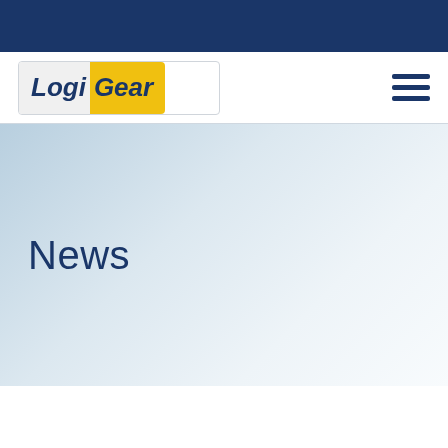[Figure (logo): LogiGear company logo with 'Logi' in italic on gray background and 'Gear' in italic on yellow background, inside a rounded rectangle border]
News